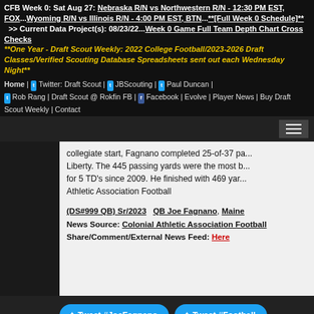CFB Week 0: Sat Aug 27: Nebraska R/N vs Northwestern R/N - 12:30 PM EST, FOX...Wyoming R/N vs Illinois R/N - 4:00 PM EST, BTN...**[Full Week 0 Schedule]** >> Current Data Project(s): 08/23/22...Week 0 Game Full Team Depth Chart Cross Checks **One Year - Draft Scout Weekly: 2022 College Football/2023-2026 Draft Classes/Verified Scouting Database Spreadsheets sent out each Wednesday Night**
Home | Twitter: Draft Scout | JBScouting | Paul Duncan | Rob Rang | Draft Scout @ Rokfin FB | Facebook | Evolve | Player News | Buy Draft Scout Weekly | Contact
collegiate start, Fagnano completed 25-of-37 pa... Liberty. The 445 passing yards were the most b... for 5 TD's since 2009. He finished with 469 yar... Athletic Association Football
(DS#999 QB) Sr/2023    QB Joe Fagnano, Maine
News Source: Colonial Athletic Association Football
Share/Comment/External News Feed: Here
[Figure (other): Two Twitter tweet buttons: 'Tweet #JoeFagnano' and 'Tweet #Football']